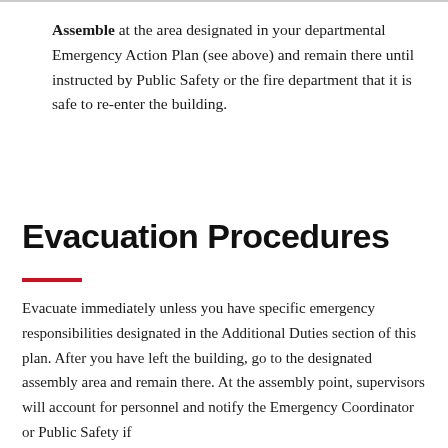Assemble at the area designated in your departmental Emergency Action Plan (see above) and remain there until instructed by Public Safety or the fire department that it is safe to re-enter the building.
Evacuation Procedures
Evacuate immediately unless you have specific emergency responsibilities designated in the Additional Duties section of this plan. After you have left the building, go to the designated assembly area and remain there. At the assembly point, supervisors will account for personnel and notify the Emergency Coordinator or Public Safety if